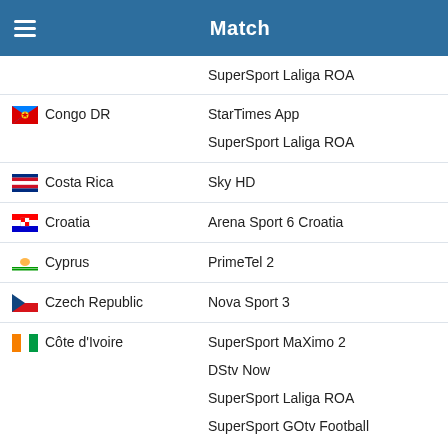Match
| Country | Channel |
| --- | --- |
|  | SuperSport Laliga ROA |
| Congo DR | StarTimes App
SuperSport Laliga ROA |
| Costa Rica | Sky HD |
| Croatia | Arena Sport 6 Croatia |
| Cyprus | PrimeTel 2 |
| Czech Republic | Nova Sport 3 |
| Côte d'Ivoire | SuperSport MaXimo 2
DStv Now
SuperSport Laliga ROA
SuperSport GOtv Football
SuperSport GOtv LaLiga |
| democratic_republic_of_t... | SuperSport MaXimo 2
SuperSport GOtv Football |